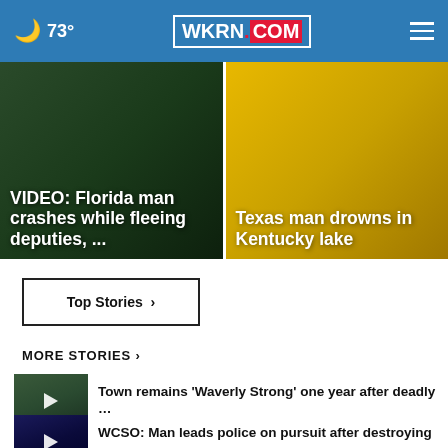73° WKRN.COM
[Figure (screenshot): Feature card: VIDEO: Florida man crashes while fleeing deputies, ...]
[Figure (screenshot): Feature card: Texas man drowns in Kentucky lake]
Top Stories ›
MORE STORIES ›
Town remains 'Waverly Strong' one year after deadly …
WCSO: Man leads police on pursuit after destroying …